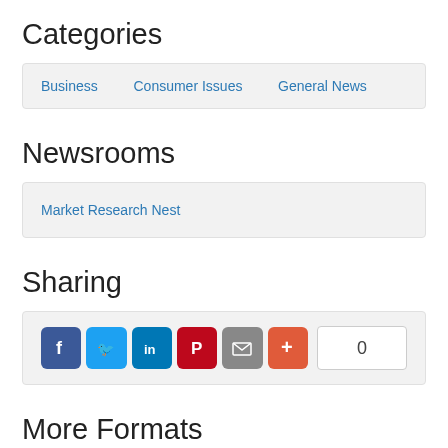Categories
Business   Consumer Issues   General News
Newsrooms
Market Research Nest
Sharing
[Figure (other): Social sharing buttons: Facebook, Twitter, LinkedIn, Pinterest, Email, More (+), and a share count of 0]
More Formats
View QR Code